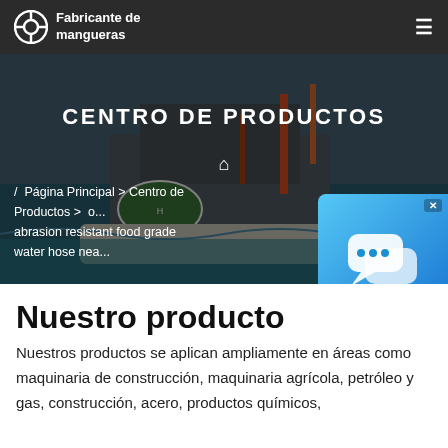Fabricante de mangueras
CENTRO DE PRODUCTOS
/ Página Principal > Centro de Productos > ... abrasion resistant food grade water hose nea...
Nuestro producto
Nuestros productos se aplican ampliamente en áreas como maquinaria de construcción, maquinaria agrícola, petróleo y gas, construcción, acero, productos químicos,